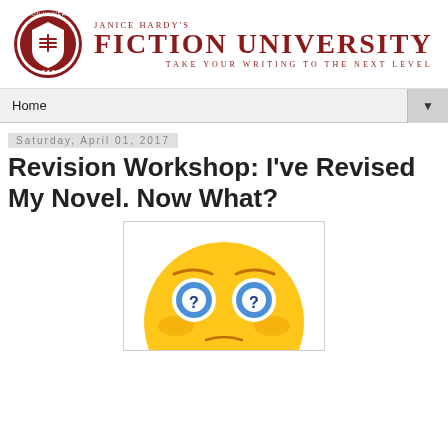[Figure (logo): Janice Hardy's Fiction University logo with shield emblem and text: JANICE HARDY'S FICTION UNIVERSITY — TAKE YOUR WRITING TO THE NEXT LEVEL]
Home
Saturday, April 01, 2017
Revision Workshop: I've Revised My Novel. Now What?
[Figure (illustration): Emoji face with question marks for eyes, yellow round face with confused/questioning expression]